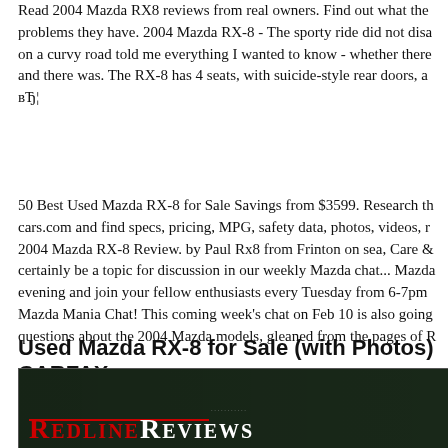Read 2004 Mazda RX8 reviews from real owners. Find out what the problems they have. 2004 Mazda RX-8 - The sporty ride did not disa on a curvy road told me everything I wanted to know - whether there and there was. The RX-8 has 4 seats, with suicide-style rear doors, ar вЂ¦
50 Best Used Mazda RX-8 for Sale Savings from $3599. Research th cars.com and find specs, pricing, MPG, safety data, photos, videos, r 2004 Mazda RX-8 Review. by Paul Rx8 from Frinton on sea, Care & certainly be a topic for discussion in our weekly Mazda chat... Mazda evening and join your fellow enthusiasts every Tuesday from 6-7pm Mazda Mania Chat! This coming week's chat on Feb 10 is also going questions about the 2004 Mazda models, gleaned from the pages of R
Used Mazda RX-8 for Sale (with Photos) CARFAX
[Figure (photo): Dark background photo with Redline Reviews logo — red and white text with small-caps styling on a black background with green tree silhouettes]